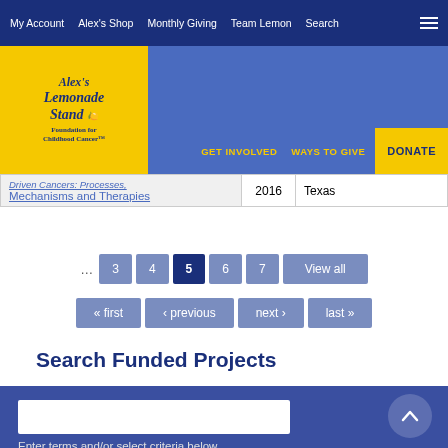My Account | Alex's Shop | Monthly Giving | Team Lemon | Search
[Figure (logo): Alex's Lemonade Stand Foundation for Childhood Cancer logo on yellow background]
GET INVOLVED | WAYS TO GIVE | DONATE
|  | Year | State |
| --- | --- | --- |
| Driven Cancers: Processes, Mechanisms and Therapies | 2016 | Texas |
... 3 4 5 6 7 View all
« first ‹ previous next › last »
Search Funded Projects
Enter terms and/or select criteria below
SUBMIT